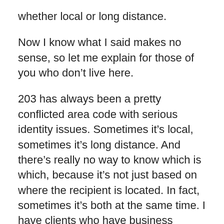whether local or long distance.
Now I know what I said makes no sense, so let me explain for those of you who don’t live here.
203 has always been a pretty conflicted area code with serious identity issues. Sometimes it’s local, sometimes it’s long distance. And there’s really no way to know which is which, because it’s not just based on where the recipient is located. In fact, sometimes it’s both at the same time. I have clients who have business phones and cell phones, all within the 203 area code, but the cell phones are sometimes local while the business phones are long distance.
Have any of you ever encountered an area code like this?
There must be others, although I always thought all the